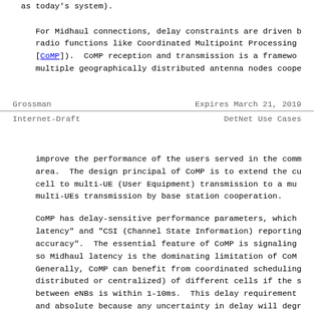as today's system).
For Midhaul connections, delay constraints are driven by radio functions like Coordinated Multipoint Processing ([CoMP]). CoMP reception and transmission is a framework multiple geographically distributed antenna nodes cooperate
Grossman                   Expires March 21, 2019
Internet-Draft              DetNet Use Cases
improve the performance of the users served in the common area. The design principal of CoMP is to extend the current cell to multi-UE (User Equipment) transmission to a multi-UEs transmission by base station cooperation.
CoMP has delay-sensitive performance parameters, which latency" and "CSI (Channel State Information) reporting accuracy". The essential feature of CoMP is signaling so Midhaul latency is the dominating limitation of CoMP. Generally, CoMP can benefit from coordinated scheduling distributed or centralized) of different cells if the signaling between eNBs is within 1-10ms. This delay requirement and absolute because any uncertainty in delay will degrade performance significantly.
Inter-site CoMP is one of the key requirements for 5G